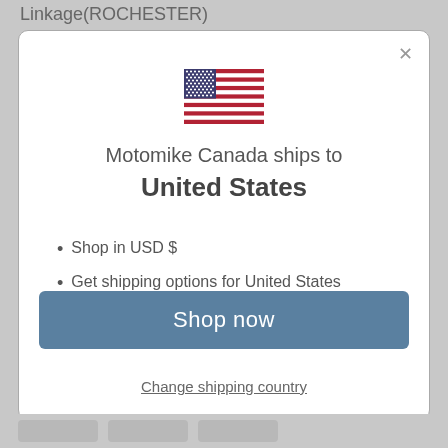Linkage(ROCHESTER)
[Figure (illustration): US flag SVG illustration inside a modal dialog]
Motomike Canada ships to United States
Shop in USD $
Get shipping options for United States
Shop now
Change shipping country